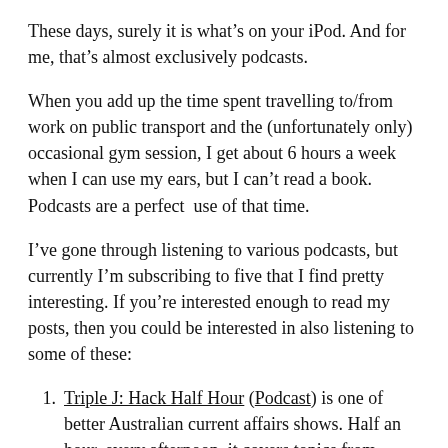These days, surely it is what's on your iPod. And for me, that's almost exclusively podcasts.
When you add up the time spent travelling to/from work on public transport and the (unfortunately only) occasional gym session, I get about 6 hours a week when I can use my ears, but I can't read a book. Podcasts are a perfect  use of that time.
I've gone through listening to various podcasts, but currently I'm subscribing to five that I find pretty interesting. If you're interested enough to read my posts, then you could be interested in also listening to some of these:
Triple J: Hack Half Hour (Podcast) is one of better Australian current affairs shows. Half an hour, every afternoon, it covers topics from youth mental illness to East Timorese politics.